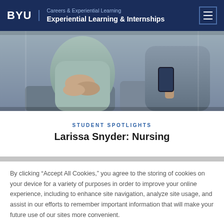BYU | Careers & Experiential Learning | Experiential Learning & Internships
[Figure (photo): Two people sitting together, one in a light blue top and one in a grey shirt, photographed from the torso down, appearing to be in conversation or looking at phones.]
STUDENT SPOTLIGHTS
Larissa Snyder: Nursing
By clicking “Accept All Cookies,” you agree to the storing of cookies on your device for a variety of purposes in order to improve your online experience, including to enhance site navigation, analyze site usage, and assist in our efforts to remember important information that will make your future use of our sites more convenient.